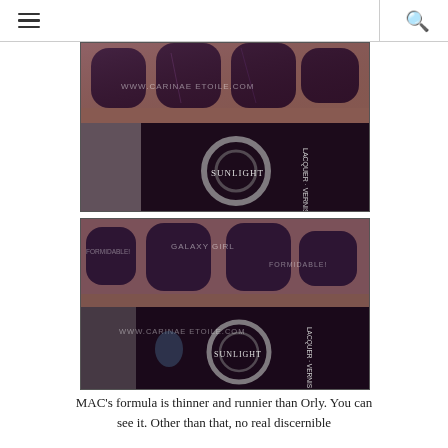☰   🔍
[Figure (photo): Close-up photo of fingers with dark purple glittery nail polish next to an Orly nail lacquer bottle, labeled SUNLIGHT. Watermark: WWW.CARINAE ETOILE.COM]
[Figure (photo): Close-up photo of fingers with dark purple glittery nail polish next to an Orly nail lacquer bottle, labeled SUNLIGHT. Watermarks: FORMIDABLE!, GALAXY GIRL, WWW.CARINAE ETOILE.COM]
MAC's formula is thinner and runnier than Orly. You can see it. Other than that, no real discernible